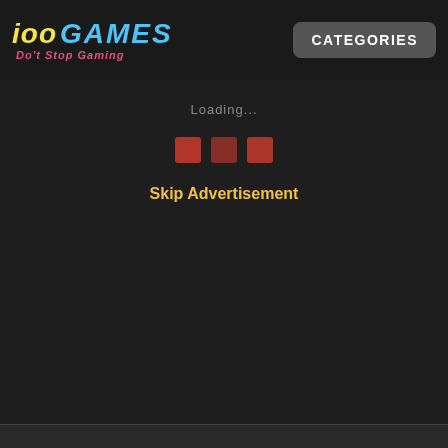ioo GAMES Do't Stop Gaming | CATEGORIES
Loading...
[Figure (other): Three red/pink squares in a row (loading indicator dots)]
Skip Advertisement
Free Play Online Word Search 2 Games:-
Free Play Online Word Search 2 Games in iooogams.com. It is  fantastic  puzzle games to exercise your brain.You can find all the hidden challenging online word games.
Loding Word Search 2 for Play:-